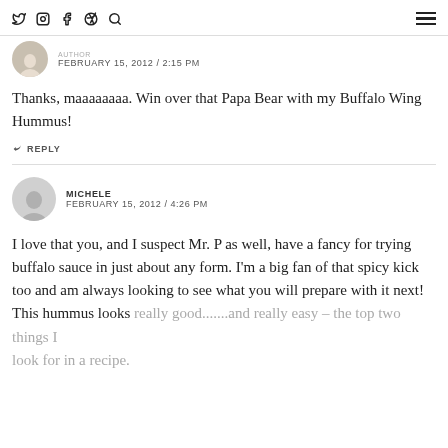Twitter Instagram Facebook Pinterest Search | Menu
AUTHOR
FEBRUARY 15, 2012 / 2:15 PM
Thanks, maaaaaaaa. Win over that Papa Bear with my Buffalo Wing Hummus!
REPLY
MICHELE
FEBRUARY 15, 2012 / 4:26 PM
I love that you, and I suspect Mr. P as well, have a fancy for trying buffalo sauce in just about any form. I'm a big fan of that spicy kick too and am always looking to see what you will prepare with it next! This hummus looks really good.......and really easy – the top two things I look for in a recipe.